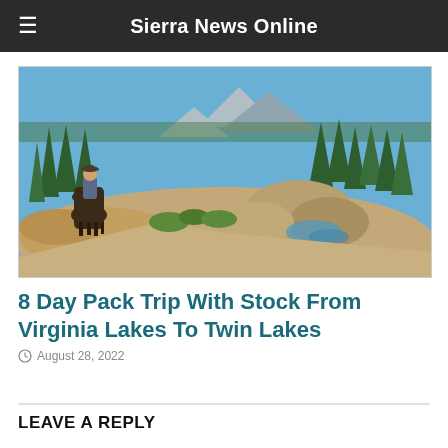Sierra News Online
[Figure (photo): A person riding a horse on a rocky mountain trail surrounded by pine trees, boulders, a small stream, and distant snow-capped peaks under a clear blue sky.]
8 Day Pack Trip With Stock From Virginia Lakes To Twin Lakes
August 28, 2022
LEAVE A REPLY